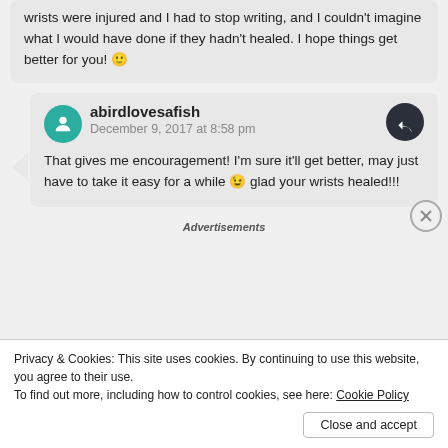wrists were injured and I had to stop writing, and I couldn't imagine what I would have done if they hadn't healed. I hope things get better for you! 🙂
abirdlovesafish
December 9, 2017 at 8:58 pm
That gives me encouragement! I'm sure it'll get better, may just have to take it easy for a while 😉 glad your wrists healed!!!
Advertisements
Privacy & Cookies: This site uses cookies. By continuing to use this website, you agree to their use.
To find out more, including how to control cookies, see here: Cookie Policy
Close and accept